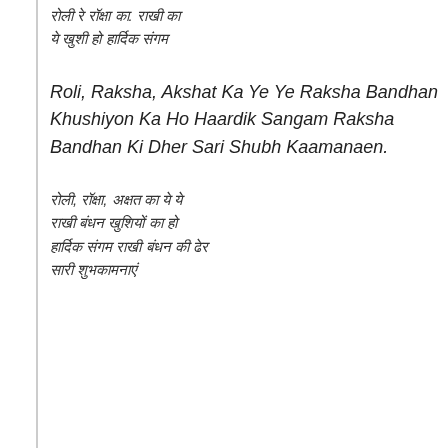[Hindi script text - top continuation]
Roli, Raksha, Akshat Ka Ye Ye Raksha Bandhan Khushiyon Ka Ho Haardik Sangam Raksha Bandhan Ki Dher Sari Shubh Kaamanaen.
[Hindi script text - bottom]